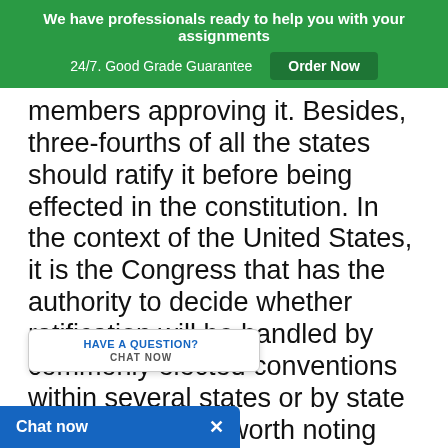We have professionals ready to help you with your assignments 24/7. Good Grade Guarantee  Order Now
members approving it. Besides, three-fourths of all the states should ratify it before being effected in the constitution. In the context of the United States, it is the Congress that has the authority to decide whether ratification will be handled by commonly elected conventions within several states or by state legislatures. It is worth noting that most US states proposed that any amendments to of the state should be approved by the electorate through a endum process (Finn, 2013).